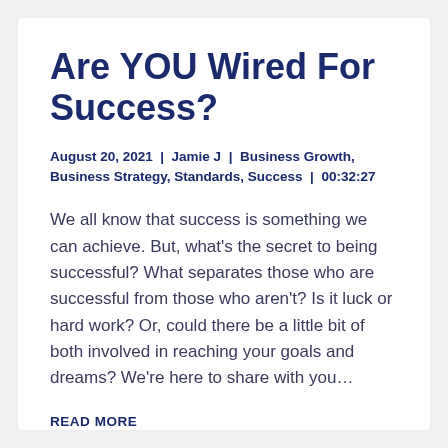Are YOU Wired For Success?
August 20, 2021  |  Jamie J  |  Business Growth, Business Strategy, Standards, Success  |  00:32:27
We all know that success is something we can achieve. But, what's the secret to being successful? What separates those who are successful from those who aren't? Is it luck or hard work? Or, could there be a little bit of both involved in reaching your goals and dreams? We're here to share with you...
READ MORE